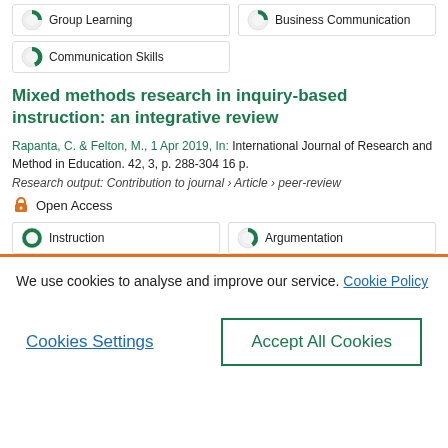Group Learning
Business Communication
Communication Skills
Mixed methods research in inquiry-based instruction: an integrative review
Rapanta, C. & Felton, M., 1 Apr 2019, In: International Journal of Research and Method in Education. 42, 3, p. 288-304 16 p.
Research output: Contribution to journal › Article › peer-review
Open Access
Instruction
Argumentation
We use cookies to analyse and improve our service. Cookie Policy
Cookies Settings
Accept All Cookies